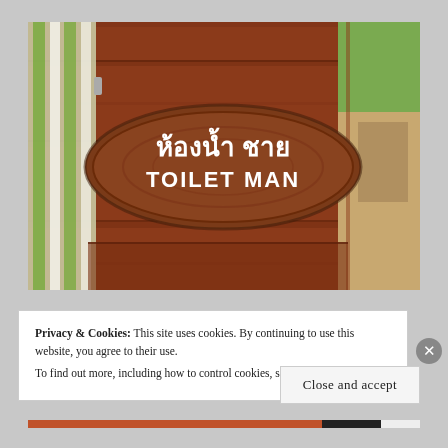[Figure (photo): A wooden sign on a brown wooden wall with Thai text 'ห้องน้ำชาย' and English text 'TOILET MAN' carved in white on an oval wooden plaque. A green and white striped fabric hangs on the left. Background shows trees and a building.]
Privacy & Cookies: This site uses cookies. By continuing to use this website, you agree to their use.
To find out more, including how to control cookies, see here: Cookie Policy
Close and accept